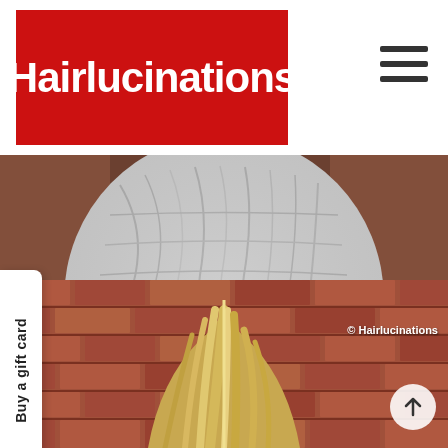[Figure (logo): Hairlucinations logo: white bold text on red background]
[Figure (photo): Top image: person seated with silver/white foil hair treatment cape draped over them, shot from behind, brick wall and wooden floor visible]
Buy a gift card
[Figure (photo): Bottom image: woman with long straight blonde/highlighted hair viewed from behind, brick wall background. Copyright Hairlucinations watermark visible.]
© Hairlucinations